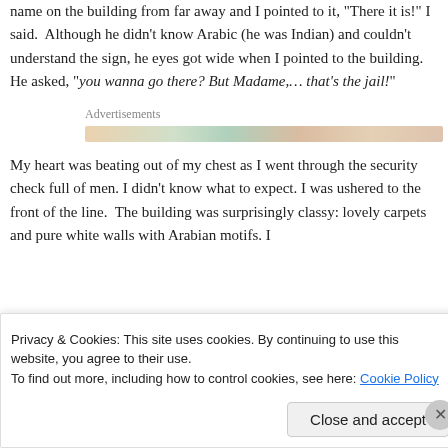name on the building from far away and I pointed to it, "There it is!" I said.  Although he didn't know Arabic (he was Indian) and couldn't understand the sign, he eyes got wide when I pointed to the building. He asked, "you wanna go there? But Madame,... that's the jail!"
[Figure (other): Advertisements banner with a colorful striped image bar]
My heart was beating out of my chest as I went through the security check full of men. I didn't know what to expect. I was ushered to the front of the line.  The building was surprisingly classy: lovely carpets and pure white walls with Arabian motifs. I
Privacy & Cookies: This site uses cookies. By continuing to use this website, you agree to their use.
To find out more, including how to control cookies, see here: Cookie Policy